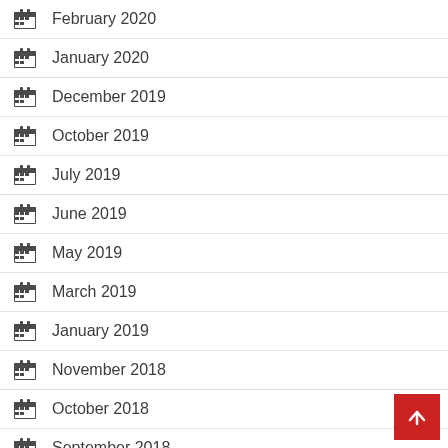February 2020
January 2020
December 2019
October 2019
July 2019
June 2019
May 2019
March 2019
January 2019
November 2018
October 2018
September 2018
August 2018